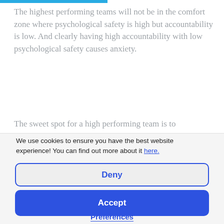The highest performing teams will not be in the comfort zone where psychological safety is high but accountability is low. And clearly having high accountability with low psychological safety causes anxiety.
The sweet spot for a high performing team is to
We use cookies to ensure you have the best website experience! You can find out more about it here.
Deny
Accept
Preferences